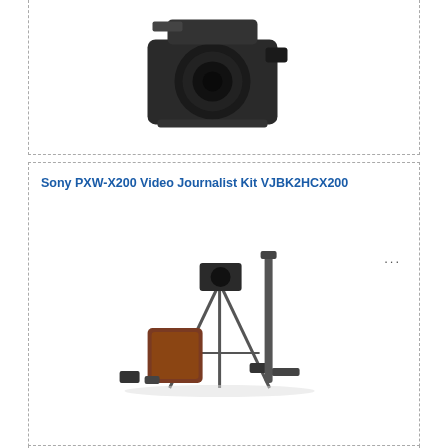[Figure (photo): Partial view of a professional video camera (top of page, cropped)]
Sony PXW-X200 Video Journalist Kit VJBK2HCX200
[Figure (photo): Sony PXW-X200 Video Journalist Kit showing camera, tripod, case and accessories]
Panasonic AJ-PX380 P2 HD AVC-ULTRA Camcorder  AJ-PX380GF
With advanced wireless and network functionality, the Panasonic AJ-PX380 P2...